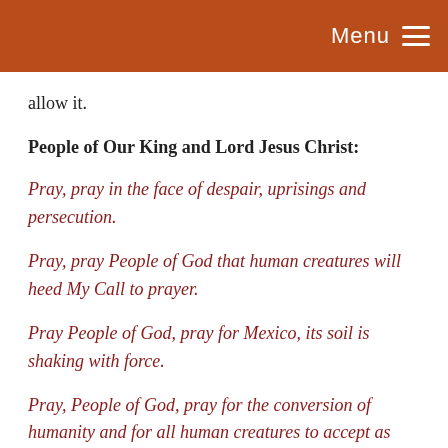Menu
allow it.
People of Our King and Lord Jesus Christ:
Pray, pray in the face of despair, uprisings and persecution.
Pray, pray People of God that human creatures will heed My Call to prayer.
Pray People of God, pray for Mexico, its soil is shaking with force.
Pray, People of God, pray for the conversion of humanity and for all human creatures to accept as Mother the One who is the Mother of